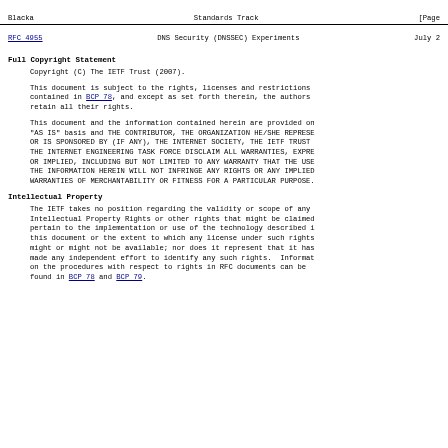Blacka                          Standards Track                        [Page
RFC 4955          DNS Security (DNSSEC) Experiments          July 2
Full Copyright Statement
Copyright (C) The IETF Trust (2007).
This document is subject to the rights, licenses and restrictions contained in BCP 78, and except as set forth therein, the authors retain all their rights.
This document and the information contained herein are provided on "AS IS" basis and THE CONTRIBUTOR, THE ORGANIZATION HE/SHE REPRESENTS OR IS SPONSORED BY (IF ANY), THE INTERNET SOCIETY, THE IETF TRUST THE INTERNET ENGINEERING TASK FORCE DISCLAIM ALL WARRANTIES, EXPRE OR IMPLIED, INCLUDING BUT NOT LIMITED TO ANY WARRANTY THAT THE USE THE INFORMATION HEREIN WILL NOT INFRINGE ANY RIGHTS OR ANY IMPLIED WARRANTIES OF MERCHANTABILITY OR FITNESS FOR A PARTICULAR PURPOSE.
Intellectual Property
The IETF takes no position regarding the validity or scope of any Intellectual Property Rights or other rights that might be claimed pertain to the implementation or use of the technology described i this document or the extent to which any license under such rights might or might not be available; nor does it represent that it has made any independent effort to identify any such rights.  Informat on the procedures with respect to rights in RFC documents can be found in BCP 78 and BCP 79.